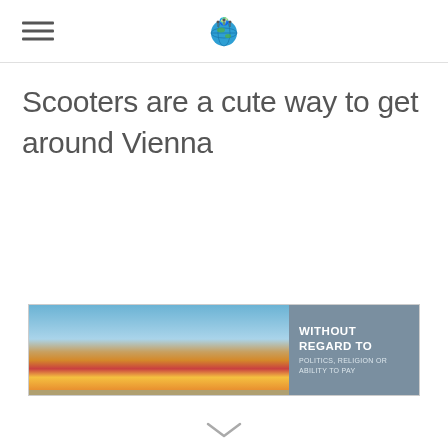Navigation header with hamburger menu and globe logo
Scooters are a cute way to get around Vienna
[Figure (photo): Advertisement banner showing an airplane being loaded with cargo on a tarmac, with overlay text 'WITHOUT REGARD TO POLITICS, RELIGION OR ABILITY TO PAY']
[Figure (other): Chevron/arrow pointing downward at the bottom of the page]